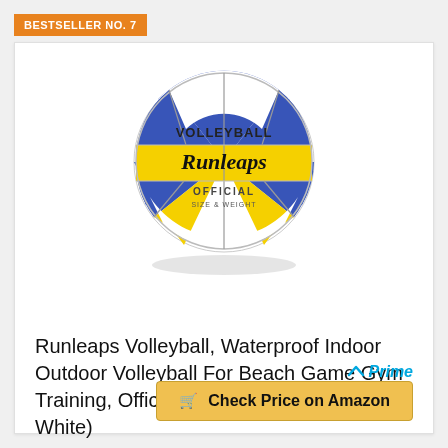BESTSELLER NO. 7
[Figure (photo): Runleaps volleyball — blue, yellow, and white panels. Text on ball: VOLLEYBALL, Runleaps, OFFICIAL SIZE & WEIGHT.]
Runleaps Volleyball, Waterproof Indoor Outdoor Volleyball For Beach Game Gym Training, Official Size 5 (Blue-Yellow-White)
Prime
Check Price on Amazon